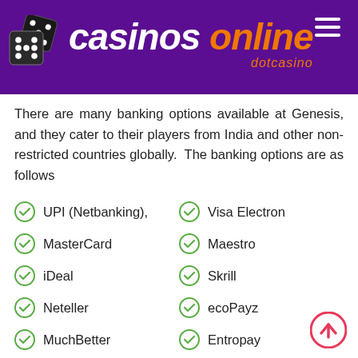[Figure (logo): Casinos Online dotcasino logo with dice image and hamburger menu on purple background]
There are many banking options available at Genesis, and they cater to their players from India and other non-restricted countries globally. The banking options are as follows
UPI (Netbanking),
Visa Electron
MasterCard
Maestro
iDeal
Skrill
Neteller
ecoPayz
MuchBetter
Entropay
Rapid-Transfer
Sofort